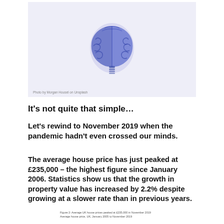[Figure (illustration): An artistic illustration of a brain rendered in blue/purple tones on a light lavender background]
Photo by Morgan Housel on Unsplash
It’s not quite that simple…
Let’s rewind to November 2019 when the pandemic hadn’t even crossed our minds.
The average house price has just peaked at £235,000 – the highest figure since January 2006. Statistics show us that the growth in property value has increased by 2.2% despite growing at a slower rate than in previous years.
Figure 2: Average UK house prices peaked at £235,000 in November 2019
Average house price, UK, January 2005 to November 2019